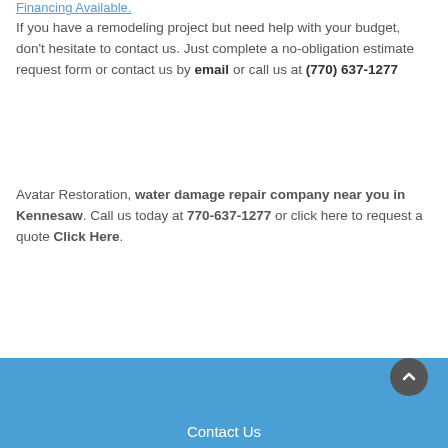Financing Available.
If you have a remodeling project but need help with your budget, don't hesitate to contact us. Just complete a no-obligation estimate request form or contact us by email or call us at (770) 637-1277
Avatar Restoration, water damage repair company near you in Kennesaw. Call us today at 770-637-1277 or click here to request a quote Click Here.
[Figure (other): Blue call-to-action button with text CALL NOW: 770-637-1277]
Contact Us